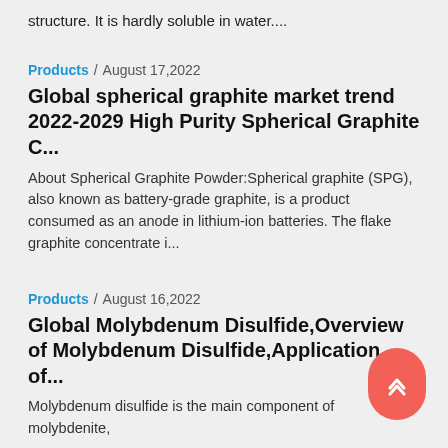structure. It is hardly soluble in water....
Products / August 17,2022
Global spherical graphite market trend 2022-2029 High Purity Spherical Graphite C...
About Spherical Graphite Powder:Spherical graphite (SPG), also known as battery-grade graphite, is a product consumed as an anode in lithium-ion batteries. The flake graphite concentrate i...
Products / August 16,2022
Global Molybdenum Disulfide,Overview of Molybdenum Disulfide,Application of...
Molybdenum disulfide is the main component of molybdenite,